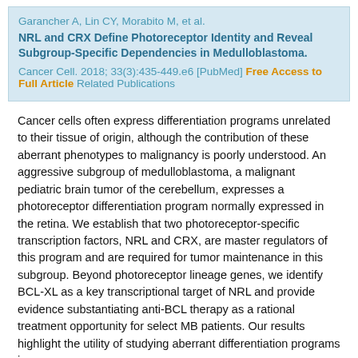Garancher A, Lin CY, Morabito M, et al.
NRL and CRX Define Photoreceptor Identity and Reveal Subgroup-Specific Dependencies in Medulloblastoma.
Cancer Cell. 2018; 33(3):435-449.e6 [PubMed] Free Access to Full Article Related Publications
Cancer cells often express differentiation programs unrelated to their tissue of origin, although the contribution of these aberrant phenotypes to malignancy is poorly understood. An aggressive subgroup of medulloblastoma, a malignant pediatric brain tumor of the cerebellum, expresses a photoreceptor differentiation program normally expressed in the retina. We establish that two photoreceptor-specific transcription factors, NRL and CRX, are master regulators of this program and are required for tumor maintenance in this subgroup. Beyond photoreceptor lineage genes, we identify BCL-XL as a key transcriptional target of NRL and provide evidence substantiating anti-BCL therapy as a rational treatment opportunity for select MB patients. Our results highlight the utility of studying aberrant differentiation programs in